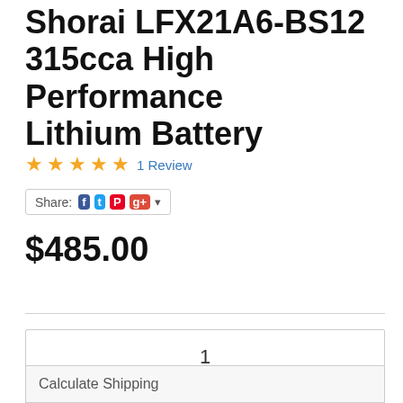Shorai LFX21A6-BS12 315cca High Performance Lithium Battery
★★★★★ 1 Review
Share:
$485.00
Sold Out
1
✉ Notify Me
Calculate Shipping